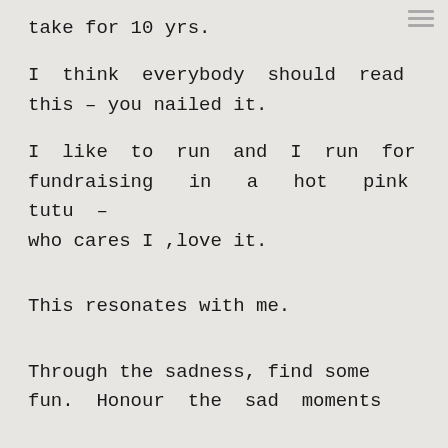take for 10 yrs.
I think everybody should read this – you nailed it.
I like to run and I run for fundraising in a hot pink tutu – who cares I ,love it.
This resonates with me.
Through the sadness, find some fun. Honour the sad moments